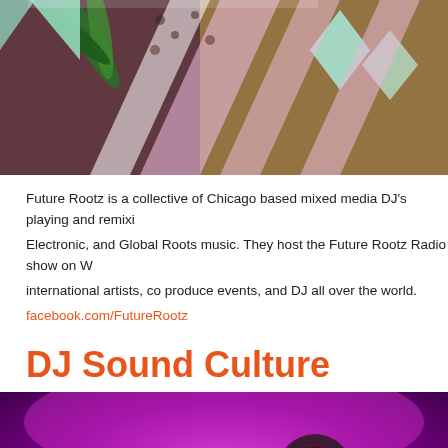[Figure (photo): Colorful abstract/tropical patterned banner image with geometric shapes, leopard print, palm leaves, pink, mint green, and dark colors.]
Future Rootz is a collective of Chicago based mixed media DJ's playing and remixing Hip Hop, Electronic, and Global Roots music.  They host the Future Rootz Radio show on W..., international artists, co produce events, and DJ all over the world.
facebook.com/FutureRootz
DJ Sound Culture
[Figure (photo): Photo of a DJ performing under purple and pink stage lighting, wearing headphones, dark atmospheric venue.]